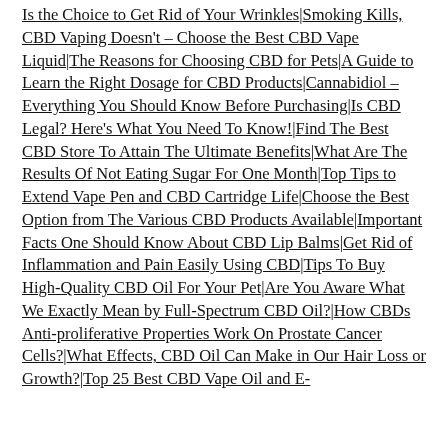Is the Choice to Get Rid of Your Wrinkles|Smoking Kills, CBD Vaping Doesn't – Choose the Best CBD Vape Liquid|The Reasons for Choosing CBD for Pets|A Guide to Learn the Right Dosage for CBD Products|Cannabidiol – Everything You Should Know Before Purchasing|Is CBD Legal? Here's What You Need To Know!|Find The Best CBD Store To Attain The Ultimate Benefits|What Are The Results Of Not Eating Sugar For One Month|Top Tips to Extend Vape Pen and CBD Cartridge Life|Choose the Best Option from The Various CBD Products Available|Important Facts One Should Know About CBD Lip Balms|Get Rid of Inflammation and Pain Easily Using CBD|Tips To Buy High-Quality CBD Oil For Your Pet|Are You Aware What We Exactly Mean by Full-Spectrum CBD Oil?|How CBDs Anti-proliferative Properties Work On Prostate Cancer Cells?|What Effects, CBD Oil Can Make in Our Hair Loss or Growth?|Top 25 Best CBD Vape Oil and E-